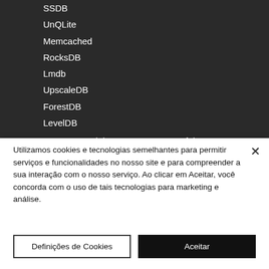SSDB
UnQLite
Memcached
RocksDB
Lmdb
UpscaleDB
ForestDB
LevelDB
To get started, just connect to any of these servers and choose the database you want to manage. The connections are independent of each other and you can open as many as you like. NoSQL servers can
Utilizamos cookies e tecnologias semelhantes para permitir serviços e funcionalidades no nosso site e para compreender a sua interação com o nosso serviço. Ao clicar em Aceitar, você concorda com o uso de tais tecnologias para marketing e análise.
Definições de Cookies
Aceitar